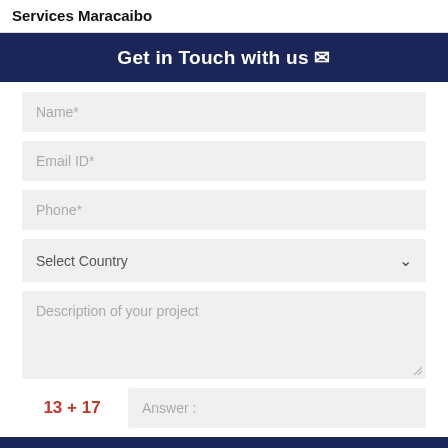Services Maracaibo
Get in Touch with us ✉
Name*
Email ID*
Phone*
Select Country
Description of your project
13 + 17   Answer :
SUBMIT